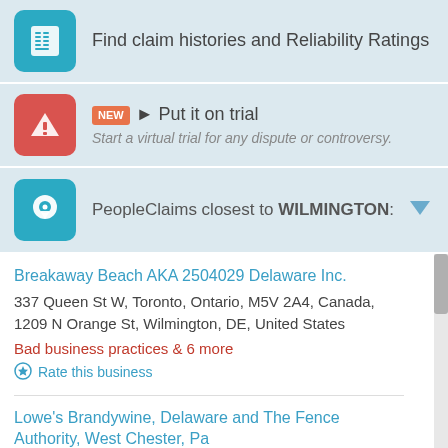Find claim histories and Reliability Ratings
NEW Put it on trial
Start a virtual trial for any dispute or controversy.
PeopleClaims closest to WILMINGTON:
Breakaway Beach AKA 2504029 Delaware Inc.
337 Queen St W, Toronto, Ontario, M5V 2A4, Canada,
1209 N Orange St, Wilmington, DE, United States
Bad business practices & 6 more
Rate this business
Lowe's Brandywine, Delaware and The Fence Authority, West Chester, Pa
The Fence Authority: 100 Colonial Way West Chester PA 19382-6895, Lowe's: 3100 Brandywine Pkwy, Wilmington, DE, United States